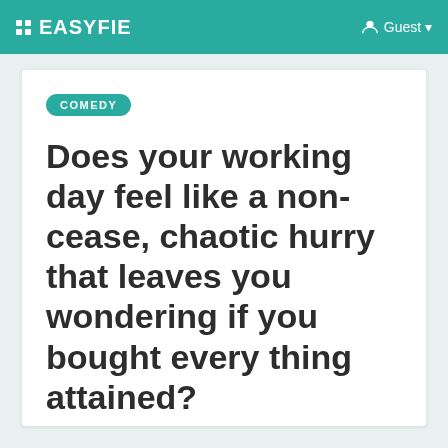EASYFIE  Guest
COMEDY
Does your working day feel like a non-cease, chaotic hurry that leaves you wondering if you bought every thing attained?